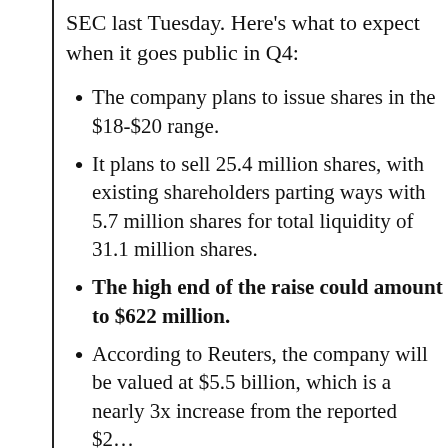SEC last Tuesday. Here's what to expect when it goes public in Q4:
The company plans to issue shares in the $18-$20 range.
It plans to sell 25.4 million shares, with existing shareholders parting ways with 5.7 million shares for total liquidity of 31.1 million shares.
The high end of the raise could amount to $622 million.
According to Reuters, the company will be valued at $5.5 billion, which is a nearly 3x increase from the reported $2…